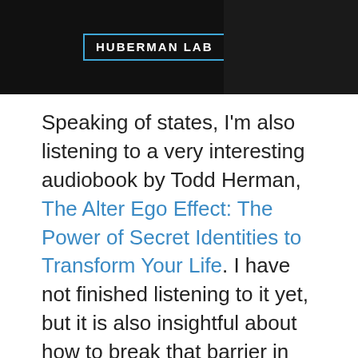[Figure (screenshot): Huberman Lab header image with dark background, logo box with cyan border reading 'HUBERMAN LAB' in white, and a person in dark clothing on the right side]
Speaking of states, I'm also listening to a very interesting audiobook by Todd Herman, The Alter Ego Effect: The Power of Secret Identities to Transform Your Life. I have not finished listening to it yet, but it is also insightful about how to break that barrier in your mind, and adopt the persona, so-to-speak, that you need to accomplish a goal or perform.